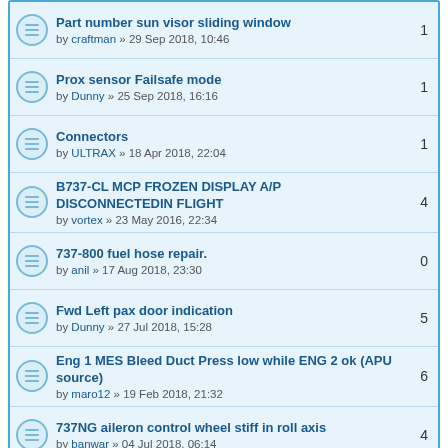Part number sun visor sliding window by craftman » 29 Sep 2018, 10:46 — replies: 1
Prox sensor Failsafe mode by Dunny » 25 Sep 2018, 16:16 — replies: 1
Connectors by ULTRAX » 18 Apr 2018, 22:04 — replies: 1
B737-CL MCP FROZEN DISPLAY A/P DISCONNECTEDIN FLIGHT by vortex » 23 May 2016, 22:34 — replies: 4
737-800 fuel hose repair. by anil » 17 Aug 2018, 23:30 — replies: 0
Fwd Left pax door indication by Dunny » 27 Jul 2018, 15:28 — replies: 5
Eng 1 MES Bleed Duct Press low while ENG 2 ok (APU source) by maro12 » 19 Feb 2018, 21:32 — replies: 6
737NG aileron control wheel stiff in roll axis by banwar » 04 Jul 2018, 06:14 — replies: 4
737 battery on with fiel tanks open by Alisson2 » 02 Jun 2018, 18:17 — replies: 2
Display topics from previous: All Topics ▾  Sort by Post time ▾
NEWTOPIC ✳  1178 t